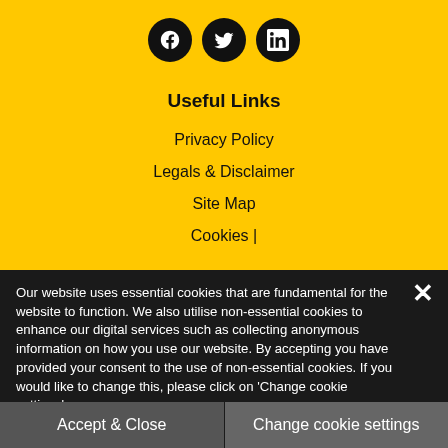[Figure (illustration): Three social media icons (Facebook, Twitter, LinkedIn) as white logos on black circular backgrounds, displayed on a yellow background.]
Useful Links
Privacy Policy
Legals & Disclaimer
Site Map
Cookies |
Our website uses essential cookies that are fundamental for the website to function. We also utilise non-essential cookies to enhance our digital services such as collecting anonymous information on how you use our website. By accepting you have provided your consent to the use of non-essential cookies. If you would like to change this, please click on 'Change cookie settings'.
Accept & Close
Change cookie settings